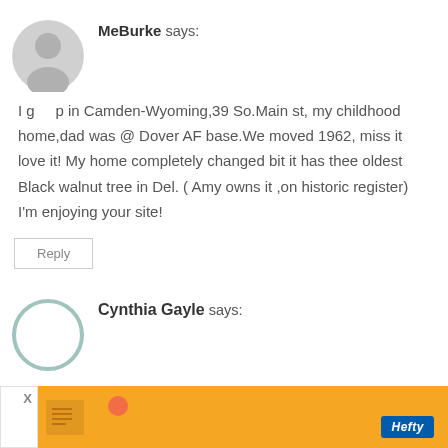[Figure (illustration): Grey circular avatar icon with generic person silhouette]
MeBurke says:
I g... p in Camden-Wyoming,39 So.Main st, my childhood home,dad was @ Dover AF base.We moved 1962, miss it love it! My home completely changed bit it has thee oldest Black walnut tree in Del. ( Amy owns it ,on historic register) I'm enjoying your site!
Reply
[Figure (illustration): Light teal/green circular avatar outline icon]
Cynthia Gayle says:
[Figure (screenshot): Orange advertisement banner with Hefty brand logo and close X button]